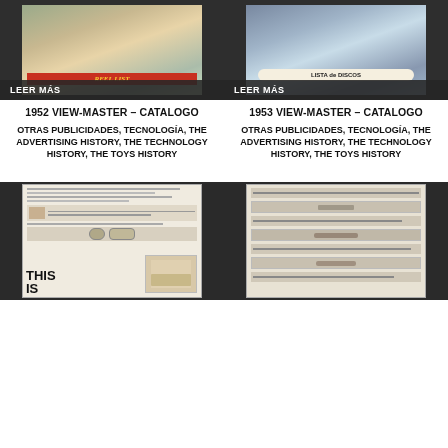[Figure (photo): View-Master 1952 catalog cover with red title bar]
[Figure (photo): View-Master 1953 catalog cover showing Lista de Discos]
LEER MÁS
LEER MÁS
1952 VIEW-MASTER – CATALOGO
1953 VIEW-MASTER – CATALOGO
OTRAS PUBLICIDADES, TECNOLOGÍA, THE ADVERTISING HISTORY, THE TECHNOLOGY HISTORY, THE TOYS HISTORY
OTRAS PUBLICIDADES, TECNOLOGÍA, THE ADVERTISING HISTORY, THE TECHNOLOGY HISTORY, THE TOYS HISTORY
[Figure (photo): Vintage newspaper advertisement page with THIS IS text visible at bottom]
[Figure (photo): Vintage advertisement page showing trucks and car advertisements]